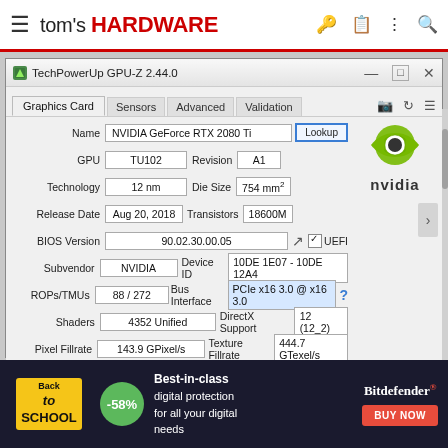tom's HARDWARE
[Figure (screenshot): TechPowerUp GPU-Z 2.44.0 application window showing NVIDIA GeForce RTX 2080 Ti graphics card information including GPU: TU102, Revision: A1, Technology: 12nm, Die Size: 754mm2, Release Date: Aug 20 2018, Transistors: 18600M, BIOS Version: 90.02.30.00.05, UEFI checked, Subvendor: NVIDIA, Device ID: 10DE 1E07 - 10DE 12A4, ROPs/TMUs: 88/272, Bus Interface: PCIe x16 3.0 @ x16 3.0, Shaders: 4352 Unified, DirectX Support: 12 (12_2), Pixel Fillrate: 143.9 GPixel/s, Texture Fillrate: 444.7 GTexel/s, Memory Type: GDDR6 (Samsung), Bus Width: 352 bit, Memory Size: 11264 MB, Bandwidth: 616.0 GB/s]
[Figure (infographic): Bitdefender advertisement banner: Back to School promotion with -58% discount, Best-in-class digital protection for all your digital needs, BUY NOW button]